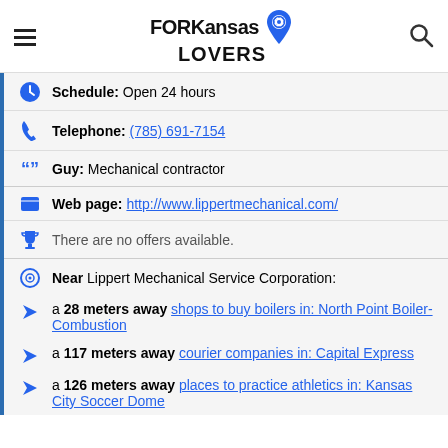FORKansasLOVERS
Schedule: Open 24 hours
Telephone: (785) 691-7154
Guy: Mechanical contractor
Web page: http://www.lippertmechanical.com/
There are no offers available.
Near Lippert Mechanical Service Corporation:
a 28 meters away shops to buy boilers in: North Point Boiler-Combustion
a 117 meters away courier companies in: Capital Express
a 126 meters away places to practice athletics in: Kansas City Soccer Dome